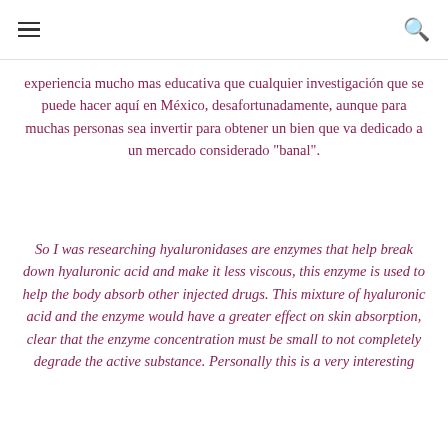[hamburger menu] [search icon]
experiencia mucho mas educativa que cualquier investigación que se puede hacer aquí en México, desafortunadamente, aunque para muchas personas sea invertir para obtener un bien que va dedicado a un mercado considerado "banal".
So I was researching hyaluronidases are enzymes that help break down hyaluronic acid and make it less viscous, this enzyme is used to help the body absorb other injected drugs. This mixture of hyaluronic acid and the enzyme would have a greater effect on skin absorption, clear that the enzyme concentration must be small to not completely degrade the active substance. Personally this is a very interesting